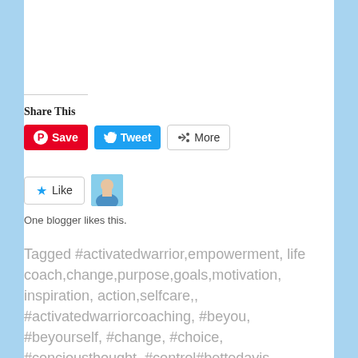Share This
Save  Tweet  More
Like  [avatar image]
One blogger likes this.
Tagged #activatedwarrior,empowerment, life coach,change,purpose,goals,motivation, inspiration, action,selfcare,, #activatedwarriorcoaching, #beyou, #beyourself, #change, #choice, #conciousthought, #control#bettedavis, #Empoweringlife, #empowermentcoach, #goals, #inspirational, #motivation, #opinions, #quote, #selfconfidence, #strength